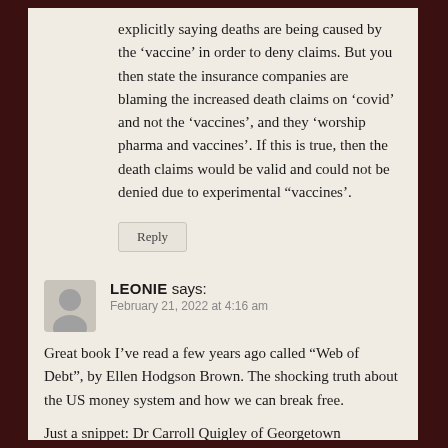explicitly saying deaths are being caused by the ‘vaccine’ in order to deny claims. But you then state the insurance companies are blaming the increased death claims on ‘covid’ and not the ‘vaccines’, and they ‘worship pharma and vaccines’. If this is true, then the death claims would be valid and could not be denied due to experimental “vaccines’.
Reply
LEONIE says:
February 21, 2022 at 4:16 am
Great book I’ve read a few years ago called “Web of Debt”, by Ellen Hodgson Brown. The shocking truth about the US money system and how we can break free.
Just a snippet: Dr Carroll Quigley of Georgetown University (& Bill Clinton’s